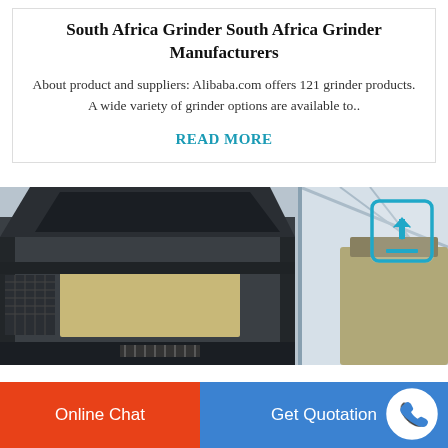South Africa Grinder South Africa Grinder Manufacturers
About product and suppliers: Alibaba.com offers 121 grinder products. A wide variety of grinder options are available to..
READ MORE
[Figure (photo): Industrial grinding/crushing machine photographed in a warehouse or factory setting, showing heavy machinery with metal frames and components.]
Online Chat
Get Quotation